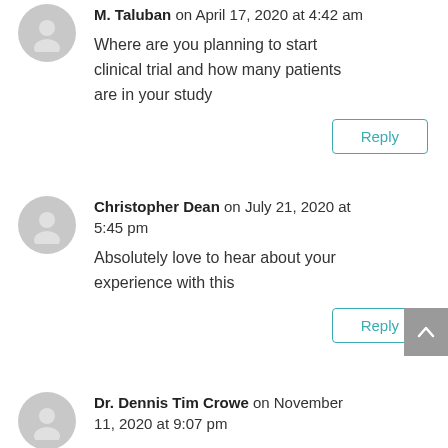M. Taluban on April 17, 2020 at 4:42 am
Where are you planning to start clinical trial and how many patients are in your study
Reply
Christopher Dean on July 21, 2020 at 5:45 pm
Absolutely love to hear about your experience with this
Reply
Dr. Dennis Tim Crowe on November 11, 2020 at 9:07 pm